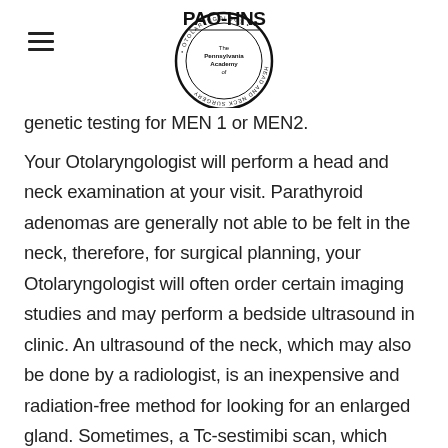PAO-HNS — The Pennsylvania Academy of Otolaryngology Head and Neck Surgery
genetic testing for MEN 1 or MEN2.
Your Otolaryngologist will perform a head and neck examination at your visit. Parathyroid adenomas are generally not able to be felt in the neck, therefore, for surgical planning, your Otolaryngologist will often order certain imaging studies and may perform a bed-side ultrasound in clinic. An ultrasound of the neck, which may also be done by a radiologist, is an inexpensive and radiation-free method for looking for an enlarged gland. Sometimes, a Tc-sestimibi scan, which uses a drug that is taken up by a parathyroid adenoma and is then shown on imaging, will be